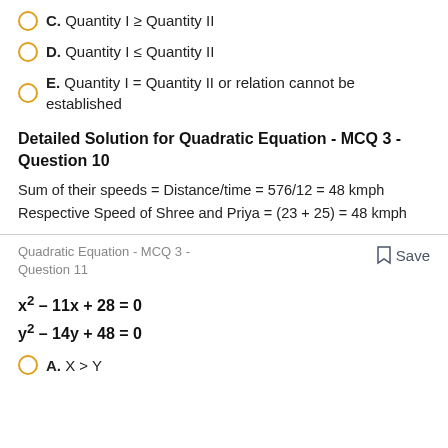C. Quantity I ≥ Quantity II
D. Quantity I ≤ Quantity II
E. Quantity I = Quantity II or relation cannot be established
Detailed Solution for Quadratic Equation - MCQ 3 - Question 10
Sum of their speeds = Distance/time = 576/12 = 48 kmph
Respective Speed of Shree and Priya = (23 + 25) = 48 kmph
Quadratic Equation - MCQ 3 - Question 11
Save
A. X > Y